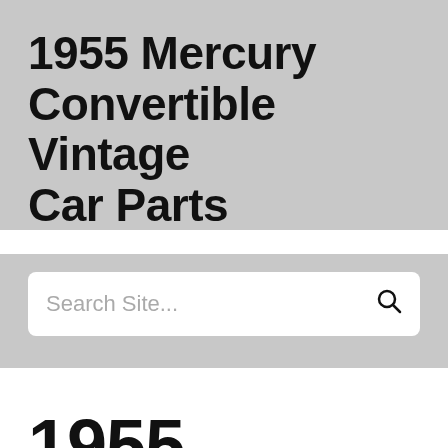1955 Mercury Convertible Vintage Car Parts
Search Site...
1955